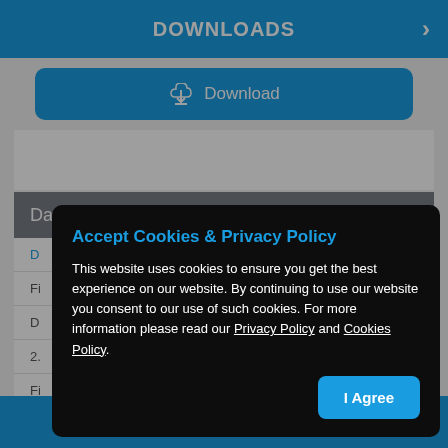DOWNLOADS
[Figure (screenshot): Download button with cloud icon at top of page]
Datasheet
D
Fi
D
2.
Fi
2.
[Figure (screenshot): Cookie consent modal overlay with title 'Accept Cookies & Privacy Policy', body text about cookies policy, and 'I Agree' button]
Accept Cookies & Privacy Policy
This website uses cookies to ensure you get the best experience on our website. By continuing to use our website you consent to our use of such cookies. For more information please read our Privacy Policy and Cookies Policy.
[Figure (screenshot): Bottom Download button with cloud icon]